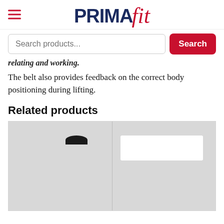PRIMA fit
Search products...
relating and working.
The belt also provides feedback on the correct body positioning during lifting.
Related products
[Figure (photo): Two product image placeholder cards side by side with gray backgrounds. Left card shows a small black arch/bump shape. Right card shows a white rectangle placeholder.]